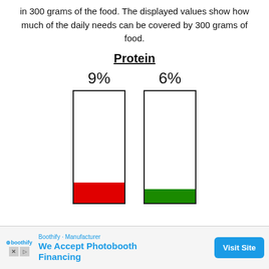in 300 grams of the food. The displayed values show how much of the daily needs can be covered by 300 grams of food.
Protein
[Figure (bar-chart): Protein]
[Figure (infographic): Advertisement banner: Boothify - Manufacturer. We Accept Photobooth Financing. Visit Site button.]